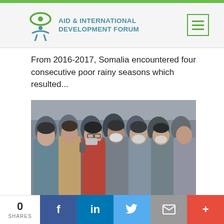AID & INTERNATIONAL DEVELOPMENT FORUM
From 2016-2017, Somalia encountered four consecutive poor rainy seasons which resulted...
[Figure (photo): A crowd of people, many wearing face masks, in an urban setting. A person in a red jacket is prominent in the center.]
0 SHARES | Facebook | LinkedIn | Twitter | Email | More